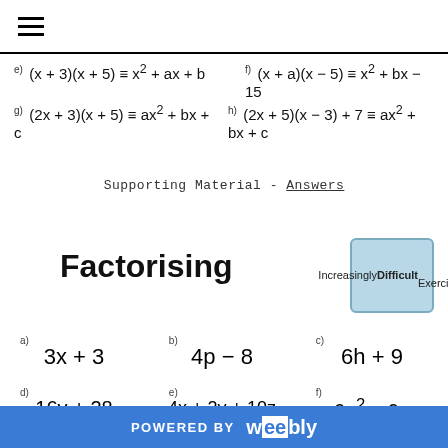hamburger menu icon
Supporting Material - Answers
Factorising
[Figure (illustration): Increasingly Difficult Exercises badge - light blue rounded rectangle]
a) 3x + 3
b) 4p − 8
c) 6h + 9
d) 16y + 28
e) 4x + 2y + 10z
f) 6p² + 9p
g)
h)
i)
POWERED BY weebly